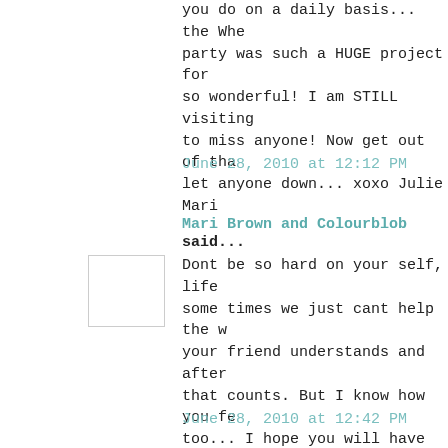you do on a daily basis... the Whe party was such a HUGE project for so wonderful! I am STILL visiting to miss anyone! Now get out of tha let anyone down... xoxo Julie Mari
June 28, 2010 at 12:12 PM
Mari Brown and Colourblob said...
Dont be so hard on your self, life some times we just cant help the w your friend understands and after that counts. But I know how you fe too... I hope you will have much b ahead of you : ) And pat your self did get a ton of things done.
June 28, 2010 at 12:42 PM